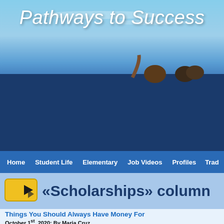[Figure (screenshot): Header image with sky background and people silhouettes, featuring the site title 'Pathways to Success' in large italic white text]
Pathways to Success
«Scholarships» column
Things You Should Always Have Money For
October 1st, 2020; By Maria Cruz